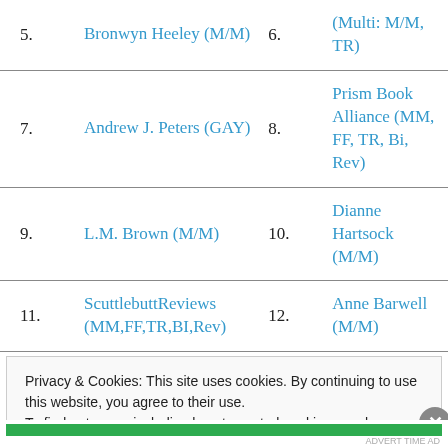5. Bronwyn Heeley (M/M)
6. (Multi: M/M, TR)
7. Andrew J. Peters (GAY)
8. Prism Book Alliance (MM, FF, TR, Bi, Rev)
9. L.M. Brown (M/M)
10. Dianne Hartsock (M/M)
11. ScuttlebuttReviews (MM,FF,TR,BI,Rev)
12. Anne Barwell (M/M)
Privacy & Cookies: This site uses cookies. By continuing to use this website, you agree to their use.
To find out more, including how to control cookies, see here: Cookie Policy
Close and accept